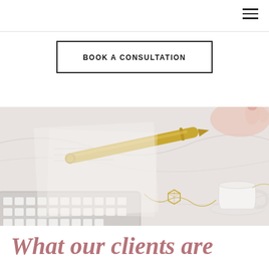BOOK A CONSULTATION
[Figure (photo): Flat lay photo of a white Apple keyboard, a gold pen/stylus, a geometric gold charm necklace, a white coffee cup with saucer, and papers on a white marble surface, with pink-manicured hands visible in the background.]
What our clients are